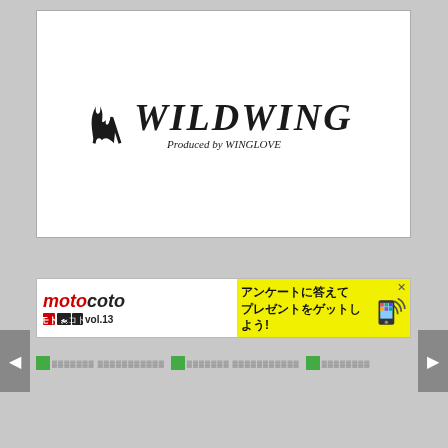[Figure (logo): WILDWING logo with flame wing icon and text 'Produced by WINGLOVE' in a white bordered box]
[Figure (infographic): motocoto vol.13 banner advertisement with Japanese text 'アンケートに答えてプレゼントをゲットしよう!' and smartphone/wifi icon on yellow background]
[Figure (infographic): Thumbnail navigation strip with small green image icons and placeholder text]